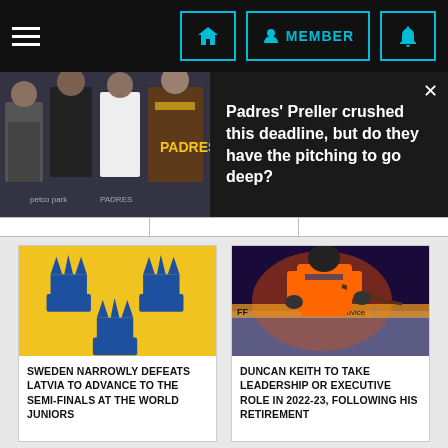Navigation bar with hamburger menu, home button, MEMBER button, and notification bell
[Figure (screenshot): Promotional banner with photo of four men at Padres event with text: Padres' Preller crushed this deadline, but do they have the pitching to go deep?]
Padres' Preller crushed this deadline, but do they have the pitching to go deep?
[Figure (illustration): Sweden national team logo - three blue crowns on yellow/gold background]
SWEDEN NARROWLY DEFEATS LATVIA TO ADVANCE TO THE SEMI-FINALS AT THE WORLD JUNIORS
[Figure (photo): Hockey player in Edmonton Oilers orange jersey on ice rink]
DUNCAN KEITH TO TAKE LEADERSHIP OR EXECUTIVE ROLE IN 2022-23, FOLLOWING HIS RETIREMENT